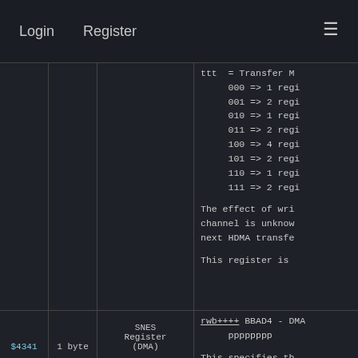Login   Register   ☰
| Address | Size | Type | Description |
| --- | --- | --- | --- |
|  |  |  | ttt = Transfer M
    000 => 1 regi
    001 => 2 regi
    010 => 1 regi
    011 => 2 regi
    100 => 4 regi
    101 => 2 regi
    110 => 1 regi
    111 => 2 regi

The effect of wri
channel is unknow
next HDMA transfe

This register is |
| $4341 | 1 byte | SNES Register (DMA) | rwb++++ BBAD4 - DMA
pppppppp

This specifies th
CPU memory space,
access, with two-
$2200. |